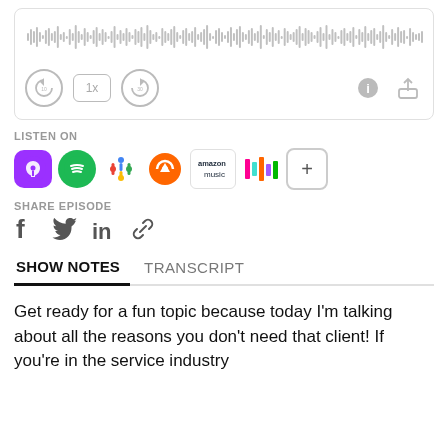[Figure (screenshot): Audio player widget with waveform visualization and playback controls (skip back 10s, 1x speed, skip forward 30s, info, and share buttons)]
LISTEN ON
[Figure (infographic): Platform icons row: Apple Podcasts (purple), Spotify (green), Google Podcasts (colorful dots), Overcast (orange), Amazon Music, Deezer (colorful bars), and a plus (+) button]
SHARE EPISODE
[Figure (infographic): Social share icons: Facebook (f), Twitter (bird), LinkedIn (in), and a link/chain icon]
SHOW NOTES    TRANSCRIPT
Get ready for a fun topic because today I'm talking about all the reasons you don't need that client! If you're in the service industry